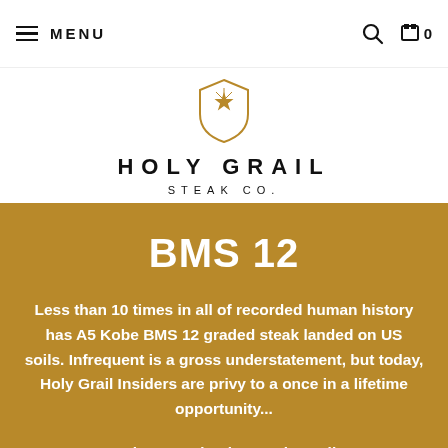☰ MENU
[Figure (logo): Holy Grail Steak Co. shield logo with star, above text HOLY GRAIL STEAK CO.]
BMS 12
Less than 10 times in all of recorded human history has A5 Kobe BMS 12 graded steak landed on US soils. Infrequent is a gross understatement, but today, Holy Grail Insiders are privy to a once in a lifetime opportunity...
It's here! And only at Holy Grail!